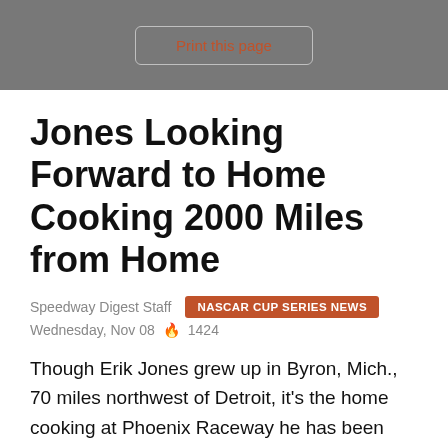Print this page
Jones Looking Forward to Home Cooking 2000 Miles from Home
Speedway Digest Staff   NASCAR CUP SERIES NEWS
Wednesday, Nov 08  🔥 1424
Though Erik Jones grew up in Byron, Mich., 70 miles northwest of Detroit, it's the home cooking at Phoenix Raceway he has been waiting to taste for the past eight months.
The driver of Furniture Row Racing's No. 77 5-hour ENERGY Toyota Camry is Toyota's best hope to claim the...